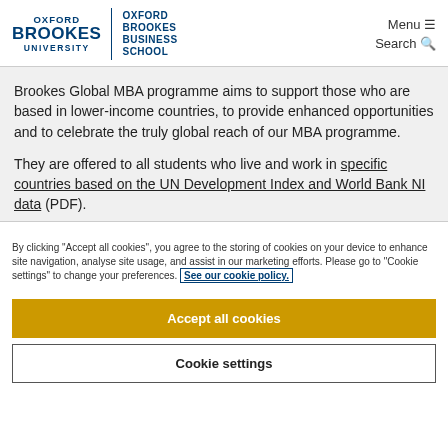[Figure (logo): Oxford Brookes University and Oxford Brookes Business School logo with Menu and Search navigation]
Brookes Global MBA programme aims to support those who are based in lower-income countries, to provide enhanced opportunities and to celebrate the truly global reach of our MBA programme.
They are offered to all students who live and work in specific countries based on the UN Development Index and World Bank NI data (PDF).
By clicking "Accept all cookies", you agree to the storing of cookies on your device to enhance site navigation, analyse site usage, and assist in our marketing efforts. Please go to "Cookie settings" to change your preferences. See our cookie policy.
Accept all cookies
Cookie settings